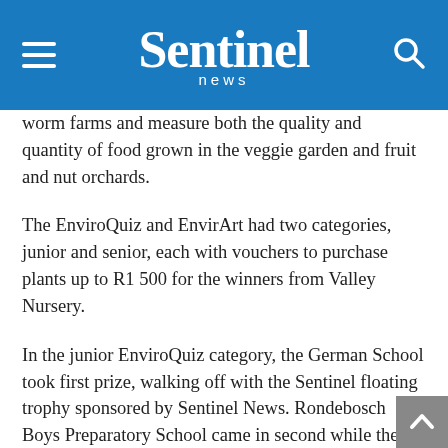Sentinel news
worm farms and measure both the quality and quantity of food grown in the veggie garden and fruit and nut orchards.
The EnviroQuiz and EnvirArt had two categories, junior and senior, each with vouchers to purchase plants up to R1 500 for the winners from Valley Nursery.
In the junior EnviroQuiz category, the German School took first prize, walking off with the Sentinel floating trophy sponsored by Sentinel News. Rondebosch Boys Preparatory School came in second while there was a tie between Kommetjie and Koeberg primary schools in third place.
In the senior category, San Souci Girls' High School won the first prize while Summit House took the second prize and the